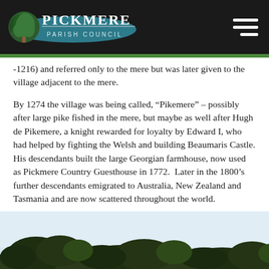Pickmere Parish Council
-1216) and referred only to the mere but was later given to the village adjacent to the mere.
By 1274 the village was being called, “Pikemere” – possibly after large pike fished in the mere, but maybe as well after Hugh de Pikemere, a knight rewarded for loyalty by Edward I, who had helped by fighting the Welsh and building Beaumaris Castle. His descendants built the large Georgian farmhouse, now used as Pickmere Country Guesthouse in 1772.  Later in the 1800’s further descendants emigrated to Australia, New Zealand and Tasmania and are now scattered throughout the world.
[Figure (photo): Landscape photo showing trees and sky near Pickmere, partial view at bottom of page]